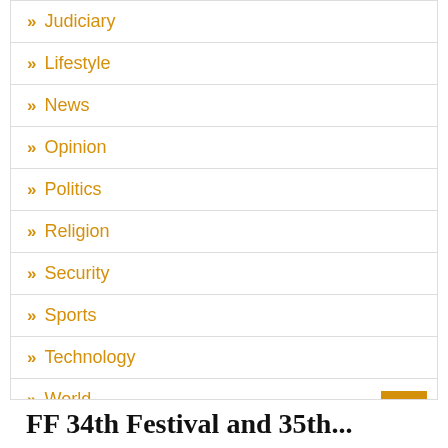Judiciary
Lifestyle
News
Opinion
Politics
Religion
Security
Sports
Technology
World
FF 34th Festival and 35th...